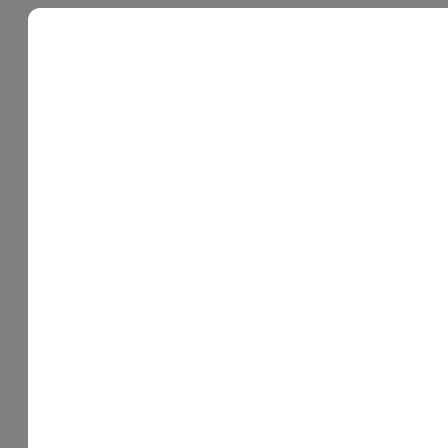generated randomly during game. Levels are unique. Puzzle never repeat itself, at each level. The goal of the game is to eliminate all tiles on the board by matching pairs of free tiles.
Actual Software | Link ... | Links † · Contact --- | Must Have | TOP 100 ... | Reviews | RSS | Submi...
[Figure (logo): Actual Download logo on red background with page curl effect. White text reading ACTUAL with registered trademark circle icon and DOWNLOAD subtitle below.]